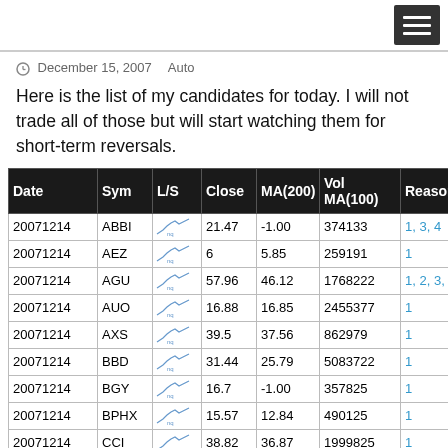December 15, 2007   Auto
Here is the list of my candidates for today. I will not trade all of those but will start watching them for short-term reversals.
| Date | Sym | L/S | Close | MA(200) | Vol MA(100) | Reason |
| --- | --- | --- | --- | --- | --- | --- |
| 20071214 | ABBI | [chart] | 21.47 | -1.00 | 374133 | 1, 3, 4 |
| 20071214 | AEZ | [chart] | 6 | 5.85 | 259191 | 1 |
| 20071214 | AGU | [chart] | 57.96 | 46.12 | 1768222 | 1, 2, 3, 4 |
| 20071214 | AUO | [chart] | 16.88 | 16.85 | 2455377 | 1 |
| 20071214 | AXS | [chart] | 39.5 | 37.56 | 862979 | 1 |
| 20071214 | BBD | [chart] | 31.44 | 25.79 | 5083722 | 1 |
| 20071214 | BGY | [chart] | 16.7 | -1.00 | 357825 | 1 |
| 20071214 | BPHX | [chart] | 15.57 | 12.84 | 490125 | 1 |
| 20071214 | CCI | [chart] | 38.82 | 36.87 | 1999825 | 1 |
| 20071214 | CCl | [chart] | [?] | [?] | [?] | 1 |